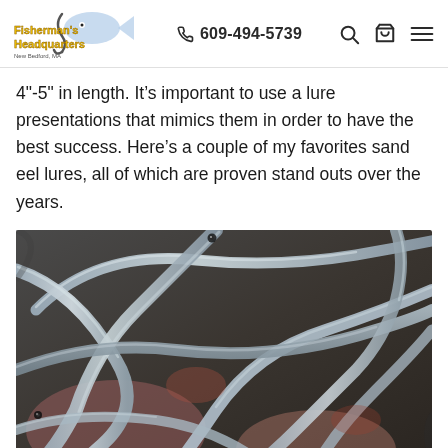Fisherman's Headquarters | 609-494-5739
4"-5" in length. It's important to use a lure presentations that mimics them in order to have the best success. Here's a couple of my favorites sand eel lures, all of which are proven stand outs over the years.
[Figure (photo): A pile of sand eels (small elongated silver fish) tangled together, showing their slender silvery bodies.]